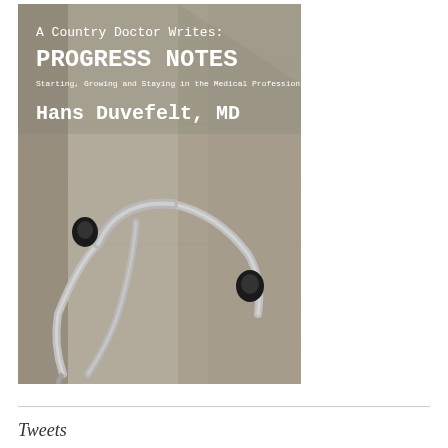[Figure (illustration): Book cover of 'A Country Doctor Writes: PROGRESS NOTES - Starting, Growing and Staying in the Medical Profession' by Hans Duvefelt, MD. The cover shows a close-up photograph of a stethoscope resting against a grey woolen fabric/coat. The title and author name are shown in white text on the upper portion of the cover.]
Tweets